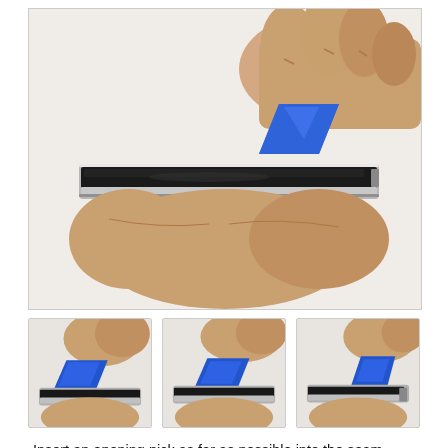[Figure (photo): A hand holding an iPod device while inserting a blue plastic opening pick into the seam between the plastic front and the metal rear panel on the right edge of the device.]
[Figure (photo): Close-up thumbnail showing blue opening pick inserted at the bottom-left corner of the iPod seam, hands holding device.]
[Figure (photo): Close-up thumbnail showing blue opening pick inserted further along the seam of the iPod, hands holding device.]
[Figure (photo): Close-up thumbnail showing blue opening pick inserted at the right edge seam of the iPod near a button or port, hands holding device.]
Insert an opening pick as far as possible into the seam between the plastic front and the metal rear panel, on the right edge of the iPod.